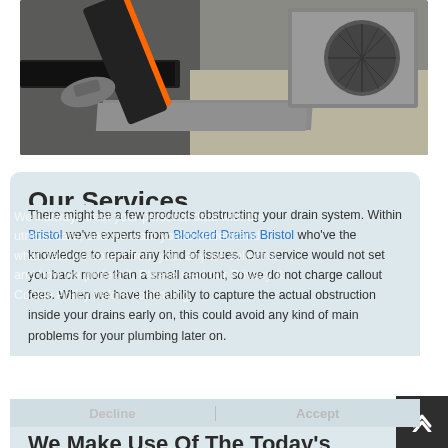[Figure (photo): Photo of plumbing/drainage tools and equipment including orange tool, black channel, gray drain box, on gravel surface]
Our Services
We'll always treat your personal data with the utmost care, and we want you to understand what data we collect from you, any we collect at and how we protect it. Please read our Privacy & Cookie Policy before continuing
There might be a few products obstructing your drain system. Within Bristol we've experts from Blocked Drains Bristol who've the knowledge to repair any kind of issues. Our service would not set you back more than a small amount, so we do not charge callout fees. When we have the ability to capture the actual obstruction inside your drains early on, this could avoid any kind of main problems for your plumbing later on.
Decline    Accept
We Make Use Of The Today's